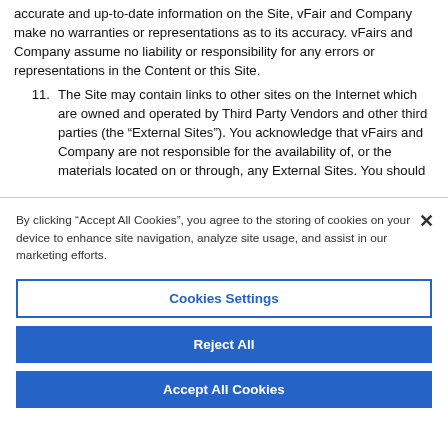accurate and up-to-date information on the Site, vFair and Company make no warranties or representations as to its accuracy. vFairs and Company assume no liability or responsibility for any errors or representations in the Content or this Site.
11. The Site may contain links to other sites on the Internet which are owned and operated by Third Party Vendors and other third parties (the “External Sites”). You acknowledge that vFairs and Company are not responsible for the availability of, or the materials located on or through, any External Sites. You should
By clicking “Accept All Cookies”, you agree to the storing of cookies on your device to enhance site navigation, analyze site usage, and assist in our marketing efforts.